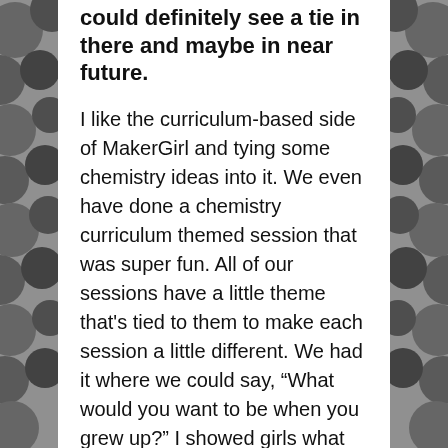could definitely see a tie in there and maybe in near future.
I like the curriculum-based side of MakerGirl and tying some chemistry ideas into it. We even have done a chemistry curriculum themed session that was super fun. All of our sessions have a little theme that's tied to them to make each session a little different. We had it where we could say, “What would you want to be when you grew up?” I showed girls what you could do with chemistry and there are girls who 3D printed little beakers and it was super cute.